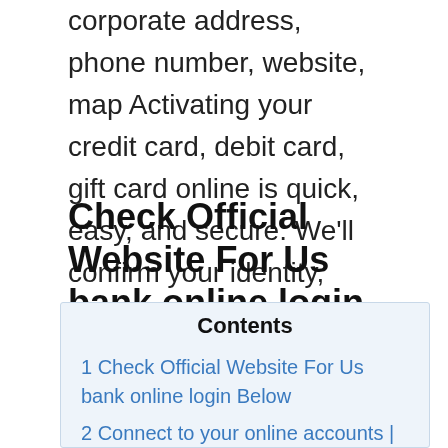corporate address, phone number, website, map Activating your credit card, debit card, gift card online is quick, easy, and secure. We'll confirm your identity, verify your card and get you on your way.
Check Official Website For Us bank online login Below
Contents
1 Check Official Website For Us bank online login Below
2 Connect to your online accounts | U.S.